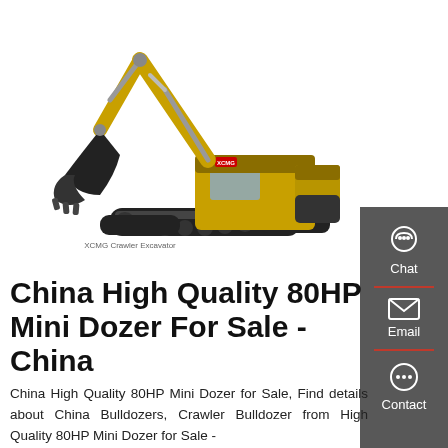[Figure (photo): Yellow XCMG crawler excavator with boom and bucket raised, on white background]
China High Quality 80HP Mini Dozer For Sale - China
China High Quality 80HP Mini Dozer for Sale, Find details about China Bulldozers, Crawler Bulldozer from High Quality 80HP Mini Dozer for Sale -